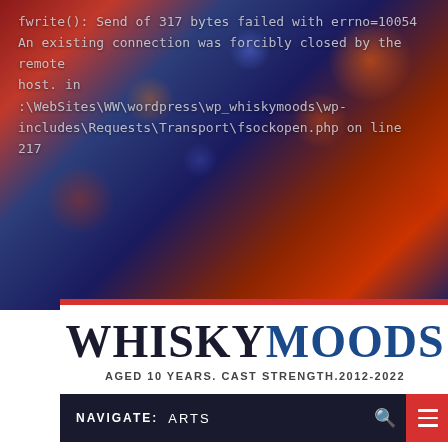fwrite(): Send of 317 bytes failed with errno=10054 An existing connection was forcibly closed by the remote host. in \WebSites\WW\wordpress\wp_whiskymoods\wp-includes\Requests\Transport\fsockopen.php on line 217
MOST POPULAR NOW
Ralph Steadman's Whisky Tax Men
[Figure (logo): WHISKYMOODS logo with tagline AGED 10 YEARS. CAST STRENGTH.2012-2022]
NAVIGATE:  ARTS
Home » Category: "Arts"